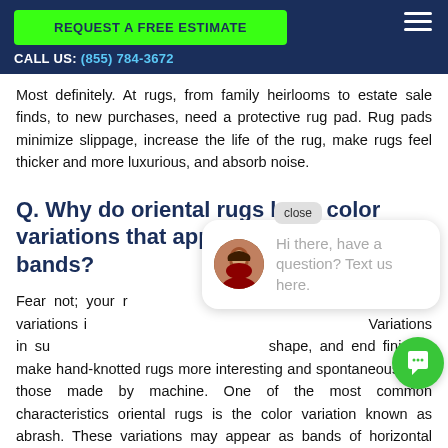REQUEST A FREE ESTIMATE | CALL US: (855) 784-3672
Most definitely. At rugs, from family heirlooms to estate sale finds, to new purchases, need a protective rug pad. Rug pads minimize slippage, increase the life of the rug, make rugs feel thicker and more luxurious, and absorb noise.
Q. Why do oriental rugs have color variations that appear as horizontal bands?
Fear not; your rug is not defective. Hand-knotted rugs have variations in surface texture, pile direction, and twist. Variations in surface texture, pile direction and shape, and end finishes make hand-knotted rugs more interesting and spontaneous than those made by machine. One of the most common characteristics of oriental rugs is the color variation known as abrash. These variations may appear as bands of horizontal bars
[Figure (other): Chat widget with avatar photo of a woman, text 'Hi there, have a question? Text us here.' and a close button, plus a green circular chat icon at bottom right]